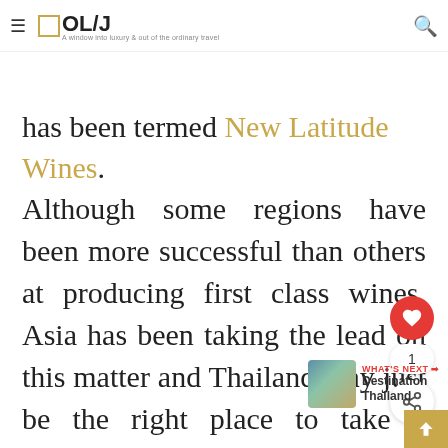≡ □OL/J — A window into luxury & out of the ordinary travel
has been termed New Latitude Wines.
Although some regions have been more successful than others at producing first class wines, Asia has been taking the lead on this matter and Thailand may just be the right place to take a renewed look at Old World vines grown in warmer climates.